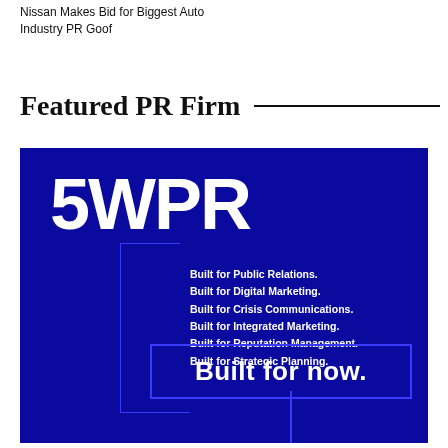Nissan Makes Bid for Biggest Auto Industry PR Goof
Featured PR Firm
[Figure (illustration): 5WPR advertisement on dark navy blue background. Large white bold '5WPR' logo text in top left. Right side lists: 'Built for Public Relations. Built for Digital Marketing. Built for Crisis Communications. Built for Integrated Marketing. Built for Reputation Management. Built for Strategic Planning.' Bottom center has a blue-bordered box with white text: 'Built for now.' Blue bracket/line graphic on the left side.]